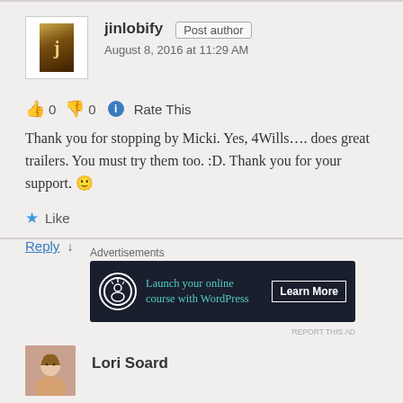[Figure (photo): Avatar image for jinlobify user - book cover thumbnail]
jinlobify Post author
August 8, 2016 at 11:29 AM
👍 0 👎 0 ℹ Rate This
Thank you for stopping by Micki. Yes, 4Wills…. does great trailers. You must try them too. :D. Thank you for your support. 🙂
★ Like
Reply ↓
Advertisements
[Figure (screenshot): Advertisement banner: Launch your online course with WordPress - Learn More button, dark background with teal text]
REPORT THIS AD
Lori Soard